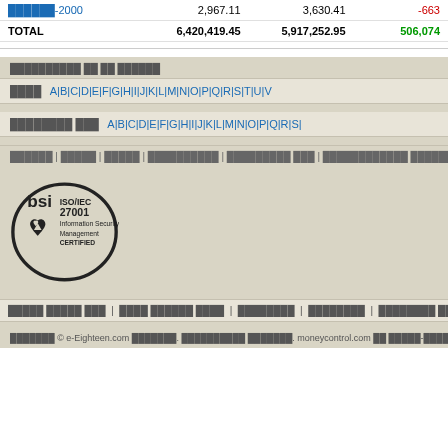|  |  |  |  |
| --- | --- | --- | --- |
| ██████-2000 | 2,967.11 | 3,630.41 | -663 |
| TOTAL | 6,420,419.45 | 5,917,252.95 | 506,074 |
██████████ ██ ██ ██████
████  A|B|C|D|E|F|G|H|I|J|K|L|M|N|O|P|Q|R|S|T|U|V
████████ ███  A|B|C|D|E|F|G|H|I|J|K|L|M|N|O|P|Q|R|S|
██████ | █████ | █████ | ██████████ | █████████ ███ | ████████████ █████████████ ██████ | ███ | ████████
[Figure (logo): BSI ISO/IEC 27001 Information Security Management CERTIFIED logo]
█████ █████ ███ | ████ ██████ ████ | ████████ | ████████ | ████████ ███ | █████ ██ ██████ |
███████ © e-Eighteen.com ███████. ██████████ ███████. moneycontrol.com ██ █████-██████ ██ ███